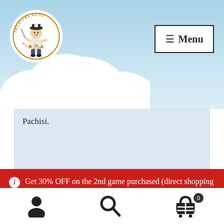[Figure (logo): Treasure Hunt For Kids pirate logo — circular badge with a cartoon pirate boy, text around the ring reading TREASURE HUNT FOR KIDS]
Menu
Pachisi.
Get 30% OFF on the 2nd game purchased (direct shopping cart discount).
Dismiss
User icon · Search icon · Cart icon (0)